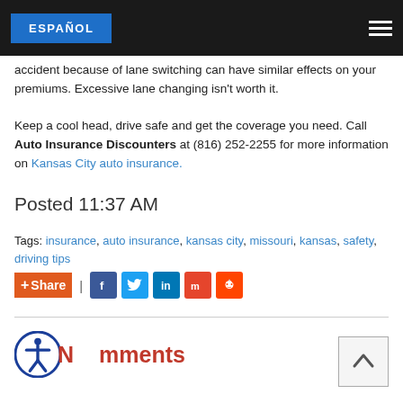ESPAÑOL
accident because of lane switching can have similar effects on your premiums. Excessive lane changing isn't worth it.
Keep a cool head, drive safe and get the coverage you need. Call Auto Insurance Discounters at (816) 252-2255 for more information on Kansas City auto insurance.
Posted 11:37 AM
Tags: insurance, auto insurance, kansas city, missouri, kansas, safety, driving tips
[Figure (other): Share button with social media icons: Facebook, Twitter, LinkedIn, Mix, Reddit]
No Comments
[Figure (other): Back to top arrow button]